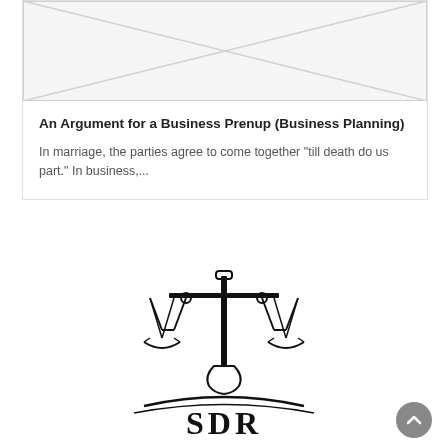[Figure (illustration): Placeholder card image with light gray background and diagonal cross lines indicating an image placeholder]
An Argument for a Business Prenup (Business Planning)
In marriage, the parties agree to come together "till death do us part." In business,...
[Figure (logo): SDR Law firm logo featuring scales of justice above the letters SDR with curved swoosh lines]